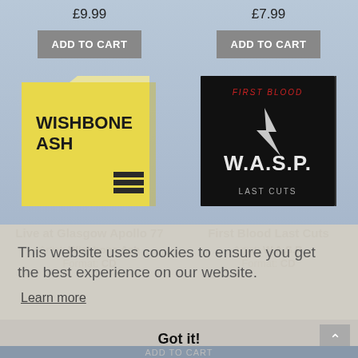£9.99
£7.99
ADD TO CART
ADD TO CART
[Figure (illustration): Wishbone Ash album cover - yellow background with black text reading WISHBONE ASH, with small text details at bottom right]
[Figure (illustration): W.A.S.P. album cover - dark/black background with W.A.S.P. logo and lightning bolt, text reading FIRST BLOOD and LAST CUTS]
Live at Glasgow Apollo 77
Artist: Wishbone Ash
Format: CD
First Blood Last Cuts
Artist: W.A.S.P.
Format: CD
This website uses cookies to ensure you get the best experience on our website.
Learn more
Got it!